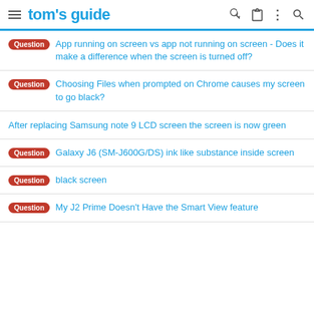tom's guide
Question  App running on screen vs app not running on screen - Does it make a difference when the screen is turned off?
Question  Choosing Files when prompted on Chrome causes my screen to go black?
After replacing Samsung note 9 LCD screen the screen is now green
Question  Galaxy J6 (SM-J600G/DS) ink like substance inside screen
Question  black screen
Question  My J2 Prime Doesn't Have the Smart View feature